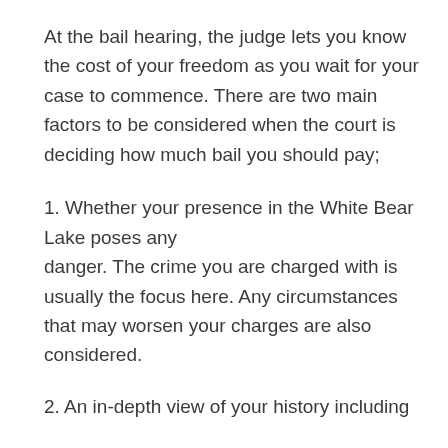At the bail hearing, the judge lets you know the cost of your freedom as you wait for your case to commence. There are two main factors to be considered when the court is deciding how much bail you should pay;
1. Whether your presence in the White Bear Lake poses any danger. The crime you are charged with is usually the focus here. Any circumstances that may worsen your charges are also considered.
2. An in-depth view of your history including